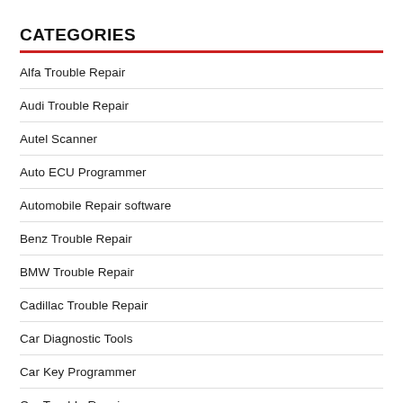CATEGORIES
Alfa Trouble Repair
Audi Trouble Repair
Autel Scanner
Auto ECU Programmer
Automobile Repair software
Benz Trouble Repair
BMW Trouble Repair
Cadillac Trouble Repair
Car Diagnostic Tools
Car Key Programmer
Car Trouble Repair